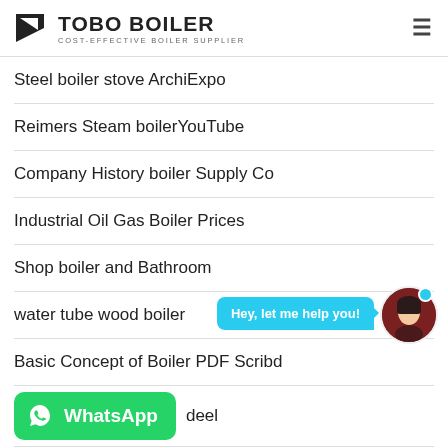TOBO BOILER — COST-EFFECTIVE BOILER SUPPLIER
Steel boiler stove ArchiExpo
Reimers Steam boilerYouTube
Company History boiler Supply Co
Industrial Oil Gas Boiler Prices
Shop boiler and Bathroom
water tube wood boiler
[Figure (screenshot): Chat assistant bubble saying 'Hey, let me help you!' with avatar of a woman]
Basic Concept of Boiler PDF Scribd
[Figure (logo): WhatsApp button in green with WhatsApp icon and text 'WhatsApp']
...deel
Chelsea boiler Repair Heating Chelsea